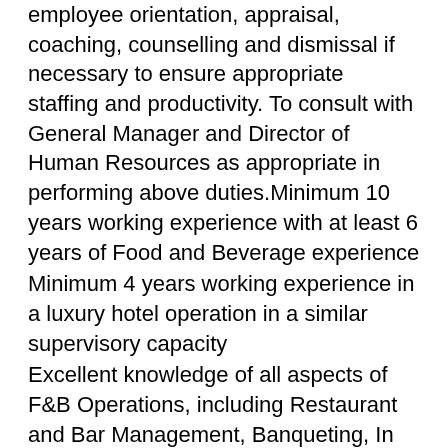employee orientation, appraisal, coaching, counselling and dismissal if necessary to ensure appropriate staffing and productivity. To consult with General Manager and Director of Human Resources as appropriate in performing above duties.Minimum 10 years working experience with at least 6 years of Food and Beverage experience
Minimum 4 years working experience in a luxury hotel operation in a similar supervisory capacity
Excellent knowledge of all aspects of F&B Operations, including Restaurant and Bar Management, Banqueting, In Room Dining, Culinary and Stewarding.
Excellent command of both written and spoken English
Excellent command of both written and spoken Turkish language.
Experience in developing strategic business and/or Food and Beverage plans
Experience in Bench-marking activities
Experience in Food and Beverage budget preparation, profit and loss statement analysis and forecasting